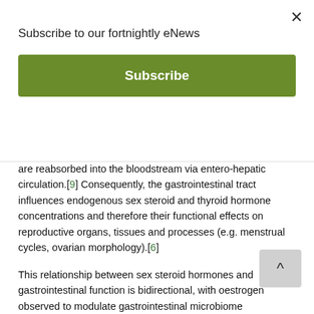Subscribe to our fortnightly eNews
Subscribe
are reabsorbed into the bloodstream via entero-hepatic circulation.[9] Consequently, the gastrointestinal tract influences endogenous sex steroid and thyroid hormone concentrations and therefore their functional effects on reproductive organs, tissues and processes (e.g. menstrual cycles, ovarian morphology).[6]
This relationship between sex steroid hormones and gastrointestinal function is bidirectional, with oestrogen observed to modulate gastrointestinal microbiome composition, and both oestrogen and progesterone influencing gastrointestinal epithelial tight junction expression and permeability.[18,20,21]
Oxidative metabolism can also modify reproductive function, with